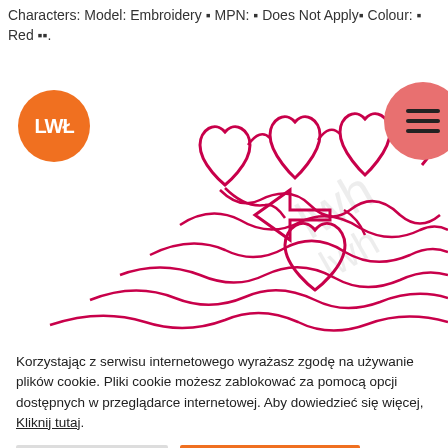Characters: Model: Embroidery ▪ MPN: ▪ Does Not Apply▪ Colour: ▪ Red ▪▪.
[Figure (illustration): Embroidery product image showing heart and swirl patterns in red/pink thread lines on white background, with orange LWH logo circle on left and pink hamburger menu circle on upper right]
Korzystając z serwisu internetowego wyrażasz zgodę na używanie plików cookie. Pliki cookie możesz zablokować za pomocą opcji dostępnych w przeglądarce internetowej. Aby dowiedzieć się więcej, Kliknij tutaj.
Cookie Ustawienia
Zaakceptuj Wszystko